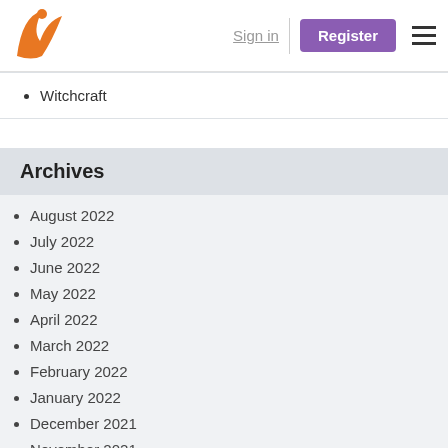Sign in | Register
Witchcraft
Archives
August 2022
July 2022
June 2022
May 2022
April 2022
March 2022
February 2022
January 2022
December 2021
November 2021
October 2021
September 2021
August 2021
July 2021
June 2021
May 2021